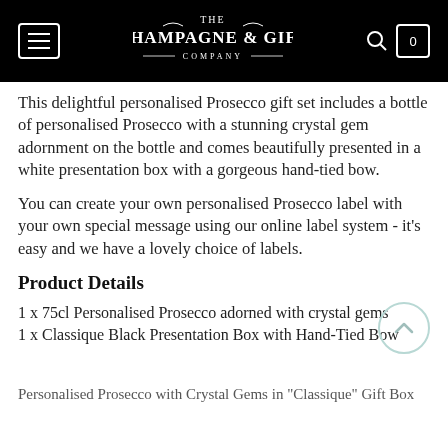THE CHAMPAGNE & GIFT COMPANY
This delightful personalised Prosecco gift set includes a bottle of personalised Prosecco with a stunning crystal gem adornment on the bottle and comes beautifully presented in a white presentation box with a gorgeous hand-tied bow.
You can create your own personalised Prosecco label with your own special message using our online label system - it's easy and we have a lovely choice of labels.
Product Details
1 x 75cl Personalised Prosecco adorned with crystal gems
1 x Classique Black Presentation Box with Hand-Tied Bow
Personalised Prosecco with Crystal Gems in "Classique" Gift Box